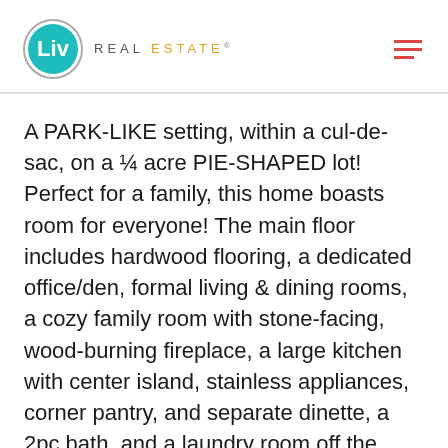Liv Real Estate
A PARK-LIKE setting, within a cul-de-sac, on a ¼ acre PIE-SHAPED lot! Perfect for a family, this home boasts room for everyone! The main floor includes hardwood flooring, a dedicated office/den, formal living & dining rooms, a cozy family room with stone-facing, wood-burning fireplace, a large kitchen with center island, stainless appliances, corner pantry, and separate dinette, a 2pc bath, and a laundry room off the heated double-attached garage. Upstairs you'll find a bonus room with vaulted ceilings, 5pc bath, and 3 MASSIVE bedrooms including a king-sized